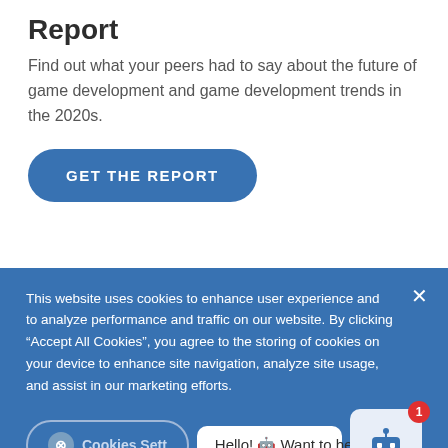Report
Find out what your peers had to say about the future of game development and game development trends in the 2020s.
GET THE REPORT
This website uses cookies to enhance user experience and to analyze performance and traffic on our website. By clicking “Accept All Cookies”, you agree to the storing of cookies on your device to enhance site navigation, analyze site usage, and assist in our marketing efforts.
Cookies Settings
Hello! 🤖 Want to hear a joke?